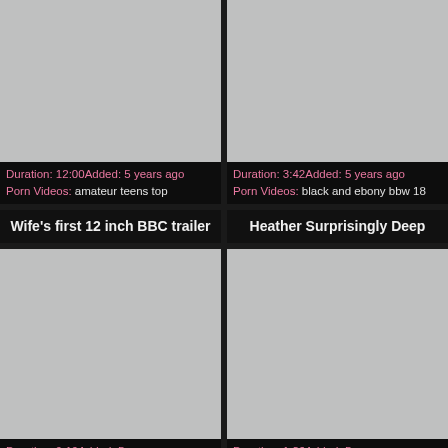[Figure (screenshot): Video thumbnail placeholder (grey) top left]
[Figure (screenshot): Video thumbnail placeholder (grey) top right]
Duration: 12:00Added: 5 years ago Porn Videos: amateur teens top
Duration: 3:42Added: 5 years ago Porn Videos: black and ebony bbw 18
Wife's first 12 inch BBC trailer
Heather Surprisingly Deep
[Figure (screenshot): Video thumbnail placeholder (grey) bottom left]
[Figure (screenshot): Video thumbnail placeholder (grey) bottom right]
Duration: 9:19Added: 5 years ago
Duration: 1:36Added: 5 years ago